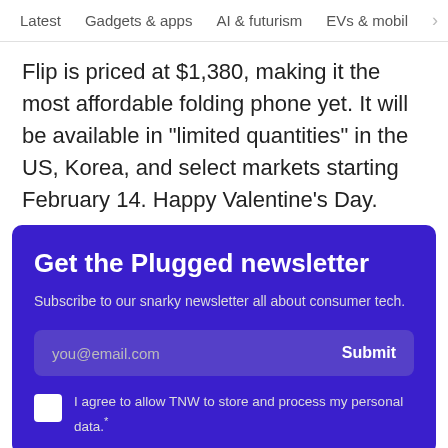Latest   Gadgets & apps   AI & futurism   EVs & mobil  >
Flip is priced at $1,380, making it the most affordable folding phone yet. It will be available in “limited quantities” in the US, Korea, and select markets starting February 14. Happy Valentine’s Day.
Get the Plugged newsletter
Subscribe to our snarky newsletter all about consumer tech.
you@email.com  Submit
I agree to allow TNW to store and process my personal data.*